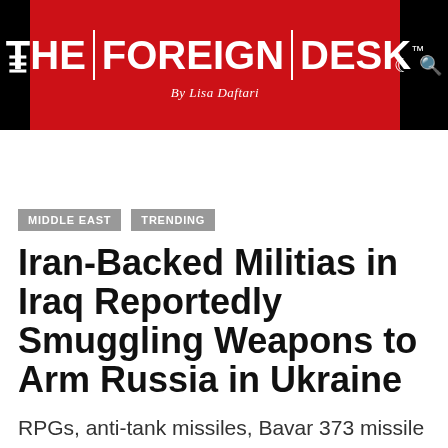THE FOREIGN DESK™ By Lisa Daftari
MIDDLE EAST
TRENDING
Iran-Backed Militias in Iraq Reportedly Smuggling Weapons to Arm Russia in Ukraine
RPGs, anti-tank missiles, Bavar 373 missile system and Brazilian-designed rocket launcher systems have made their way